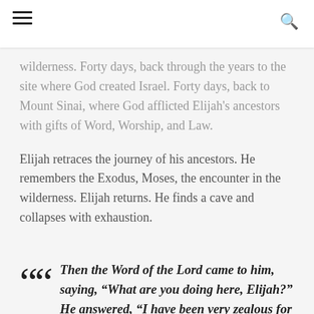wilderness. Forty days, back through the years to the site where God created Israel. Forty days, back to Mount Sinai, where God afflicted Elijah's ancestors with gifts of Word, Worship, and Law.
Elijah retraces the journey of his ancestors. He remembers the Exodus, Moses, the encounter in the wilderness. Elijah returns. He finds a cave and collapses with exhaustion.
Then the Word of the Lord came to him, saying, “What are you doing here, Elijah?” He answered, “I have been very zealous for